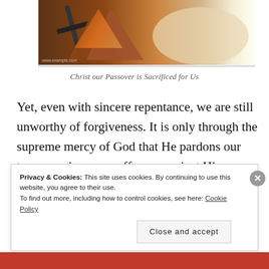[Figure (photo): Photo of what appears to be a wooden cross or nails with bread/food items, suggesting Passover or crucifixion imagery]
Christ our Passover is Sacrificed for Us
Yet, even with sincere repentance, we are still unworthy of forgiveness. It is only through the supreme mercy of God that He pardons our transgressions, our offenses against Him, numerous as they are. After all, if someone offended us the same amount that we offend God, we would find it hard to
Privacy & Cookies: This site uses cookies. By continuing to use this website, you agree to their use.
To find out more, including how to control cookies, see here: Cookie Policy
Close and accept